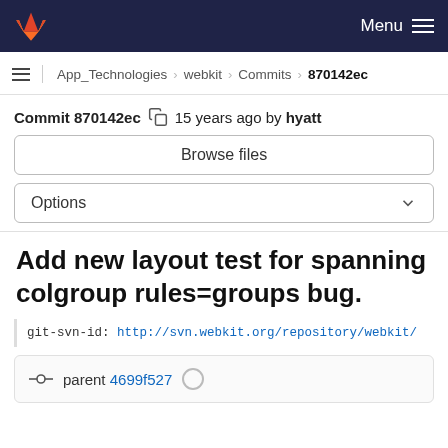GitLab navigation bar with logo and Menu
App_Technologies > webkit > Commits > 870142ec
Commit 870142ec  15 years ago by hyatt
Browse files
Options
Add new layout test for spanning colgroup rules=groups bug.
git-svn-id: http://svn.webkit.org/repository/webkit/
parent 4699f527